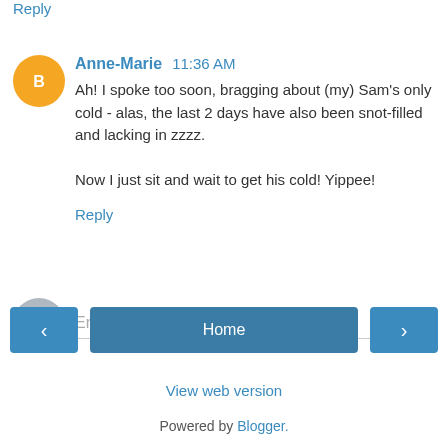Reply
Anne-Marie  11:36 AM
Ah! I spoke too soon, bragging about (my) Sam's only cold - alas, the last 2 days have also been snot-filled and lacking in zzzz.

Now I just sit and wait to get his cold! Yippee!
Reply
Enter Comment
Home
View web version
Powered by Blogger.